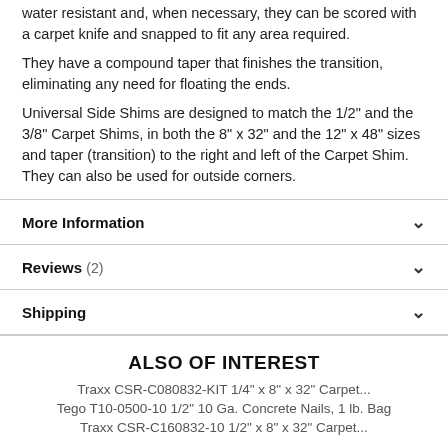water resistant and, when necessary, they can be scored with a carpet knife and snapped to fit any area required.
They have a compound taper that finishes the transition, eliminating any need for floating the ends.
Universal Side Shims are designed to match the 1/2" and the 3/8" Carpet Shims, in both the 8" x 32" and the 12" x 48" sizes and taper (transition) to the right and left of the Carpet Shim. They can also be used for outside corners.
More Information
Reviews (2)
Shipping
ALSO OF INTEREST
Traxx CSR-C080832-KIT 1/4" x 8" x 32" Carpet...
Tego T10-0500-10 1/2" 10 Ga. Concrete Nails, 1 lb. Bag
Traxx CSR-C160832-10 1/2" x 8" x 32" Carpet...